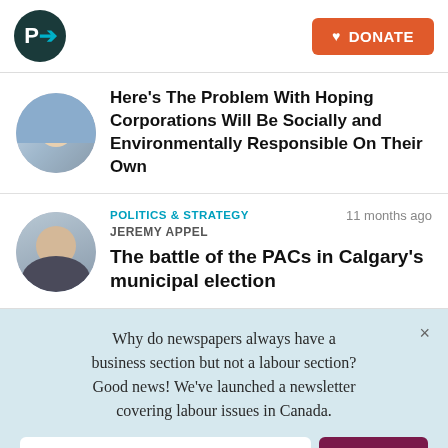P> DONATE
Here's The Problem With Hoping Corporations Will Be Socially and Environmentally Responsible On Their Own
POLITICS & STRATEGY   11 months ago
JEREMY APPEL
The battle of the PACs in Calgary's municipal election
Why do newspapers always have a business section but not a labour section? Good news! We've launched a newsletter covering labour issues in Canada.
Email Address*  SIGN UP